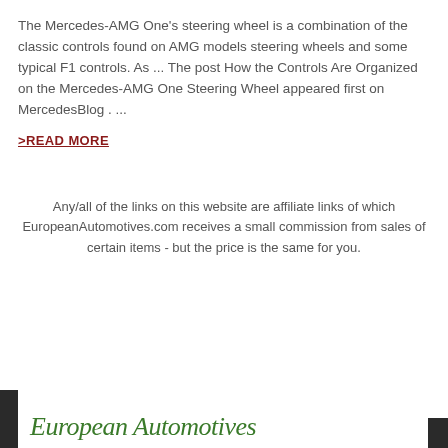The Mercedes-AMG One's steering wheel is a combination of the classic controls found on AMG models steering wheels and some typical F1 controls. As ... The post How the Controls Are Organized on the Mercedes-AMG One Steering Wheel appeared first on MercedesBlog . ...
>READ MORE
Any/all of the links on this website are affiliate links of which EuropeanAutomotives.com receives a small commission from sales of certain items - but the price is the same for you.
[Figure (logo): European Automotives logo in green serif italic font at the bottom of the page, with dark side bars]